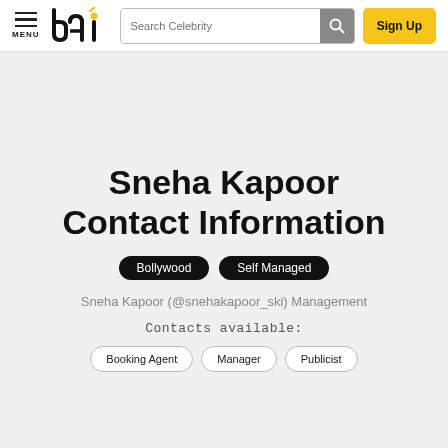MENU | [logo: bai] | Search Celebrity [search button] | Sign Up
Sneha Kapoor Contact Information
Bollywood   Self Managed
Sneha Kapoor (@snehakapoor_ski) Management
Contacts available:
Booking Agent   Manager   Publicist